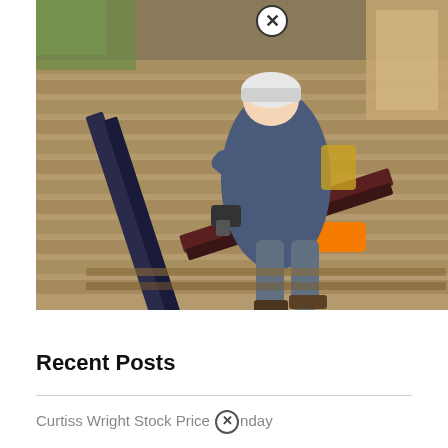[Figure (photo): A worker wearing a white cap and blue long-sleeve shirt bends over on a sloped roof, using a nail gun to install dark metal flashing or solar panel rails on asphalt shingles. Orange power tools visible on the roof. Trees and a house visible in background.]
Recent Posts
Curtiss Wright Stock Price [X] nday